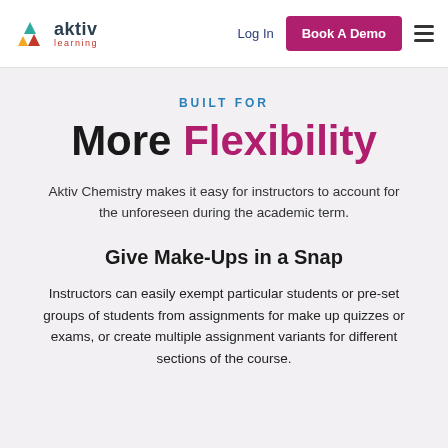[Figure (logo): Aktiv Learning logo with colorful triangle icon and text 'aktiv learning']
Log In
Book A Demo
BUILT FOR
More Flexibility
Aktiv Chemistry makes it easy for instructors to account for the unforeseen during the academic term.
Give Make-Ups in a Snap
Instructors can easily exempt particular students or pre-set groups of students from assignments for make up quizzes or exams, or create multiple assignment variants for different sections of the course.